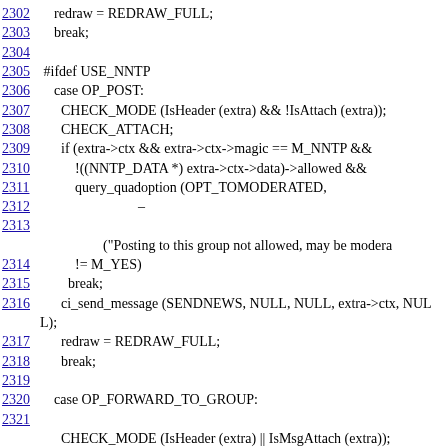[Figure (screenshot): Source code listing with line numbers 2302-2323, showing C code for a mail/news client with NNTP posting functionality. Line numbers are hyperlinks in blue underline. Code includes cases for OP_POST and OP_FORWARD_TO_GROUP with checks for headers, attachments, and NNTP context.]